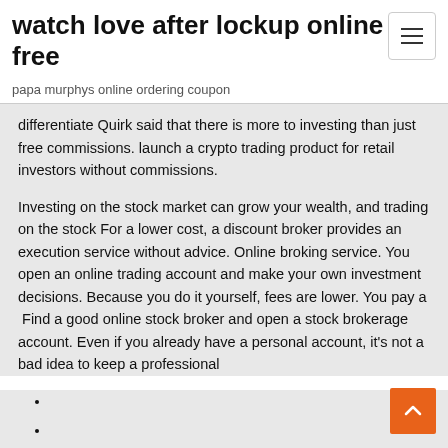watch love after lockup online free
papa murphys online ordering coupon
differentiate Quirk said that there is more to investing than just free commissions. launch a crypto trading product for retail investors without commissions.
Investing on the stock market can grow your wealth, and trading on the stock For a lower cost, a discount broker provides an execution service without advice. Online broking service. You open an online trading account and make your own investment decisions. Because you do it yourself, fees are lower. You pay a  Find a good online stock broker and open a stock brokerage account. Even if you already have a personal account, it's not a bad idea to keep a professional